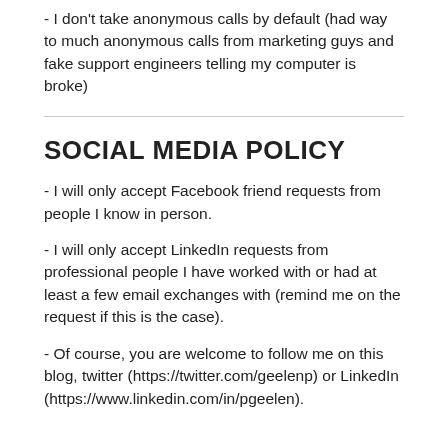- I don't take anonymous calls by default (had way to much anonymous calls from marketing guys and fake support engineers telling my computer is broke)
SOCIAL MEDIA POLICY
- I will only accept Facebook friend requests from people I know in person.
- I will only accept LinkedIn requests from professional people I have worked with or had at least a few email exchanges with (remind me on the request if this is the case).
- Of course, you are welcome to follow me on this blog, twitter (https://twitter.com/geelenp) or LinkedIn (https://www.linkedin.com/in/pgeelen).